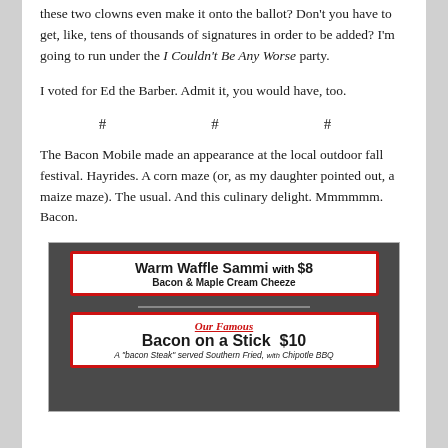these two clowns even make it onto the ballot? Don't you have to get, like, tens of thousands of signatures in order to be added? I'm going to run under the I Couldn't Be Any Worse party.
I voted for Ed the Barber. Admit it, you would have, too.
# # #
The Bacon Mobile made an appearance at the local outdoor fall festival. Hayrides. A corn maze (or, as my daughter pointed out, a maize maze). The usual. And this culinary delight. Mmmmmm. Bacon.
[Figure (photo): Photo of a food stand menu board showing two signs with red borders: top sign reads 'Warm Waffle Sammi with $8 Bacon & Maple Cream Cheeze'; bottom sign reads 'Our Famous Bacon on a Stick $10 A bacon Steak served Southern Fried, with Chipotle BBQ']